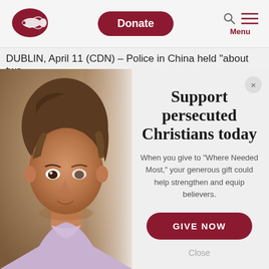[Figure (logo): Open Doors logo — stylized fish/hands in dark red oval]
Donate
Menu
DUBLIN, April 11 (CDN) – Police in China held "about two
[Figure (photo): Close-up photo of a young girl with brown hair looking toward camera, warm brown tones, wearing a light purple turtleneck]
Support persecuted Christians today
When you give to "Where Needed Most," your generous gift could help strengthen and equip believers.
GIVE NOW
Close